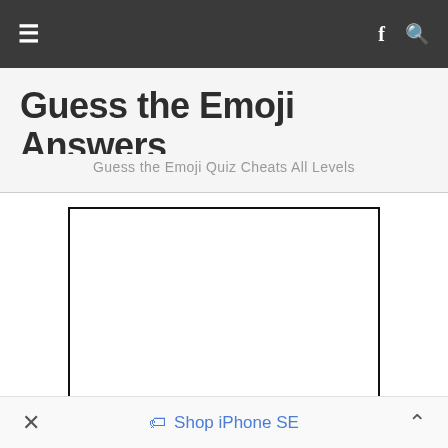≡   f 🔍
Guess the Emoji Answers
Guess the Emoji Quiz Cheats All Levels
[Figure (other): Empty white rectangle with black border — advertisement placeholder]
✕   🏷 Shop iPhone SE   ∧